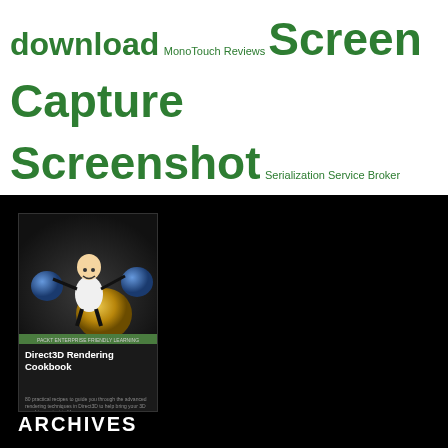download MonoTouch Reviews Screen Capture Screenshot Serialization Service Broker SharePoint Silverlight SQL Server UIKeyboard.WillHideNotification UIKeyboard.WillShowNotification UIScrollView UITextField UIView Vista Windows 7 WPF x86 x86-64
[Figure (photo): Book cover of 'Direct3D Rendering Cookbook' by Justin Stenning, published by Packt. Cover shows a 3D cartoon character juggling balls.]
ARCHIVES